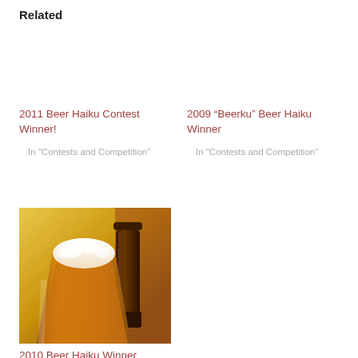Related
2011 Beer Haiku Contest Winner!
In "Contests and Competition"
2009 “Beerku” Beer Haiku Winner
In "Contests and Competition"
[Figure (photo): A glass of amber beer with foam head next to a dark brown beer bottle, with a warm yellow/orange background suggesting a bar or brewery setting.]
2010 Beer Haiku Winner
In "Contests and Competition"